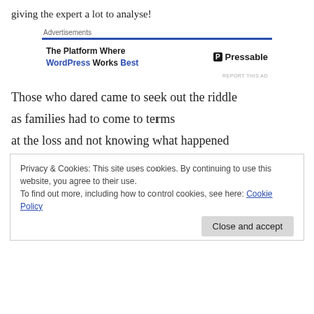giving the expert a lot to analyse!
[Figure (other): Advertisement banner for Pressable: 'The Platform Where WordPress Works Best' with Pressable logo]
Those who dared came to seek out the riddle
as families had to come to terms
at the loss and not knowing what happened
Privacy & Cookies: This site uses cookies. By continuing to use this website, you agree to their use.
To find out more, including how to control cookies, see here: Cookie Policy